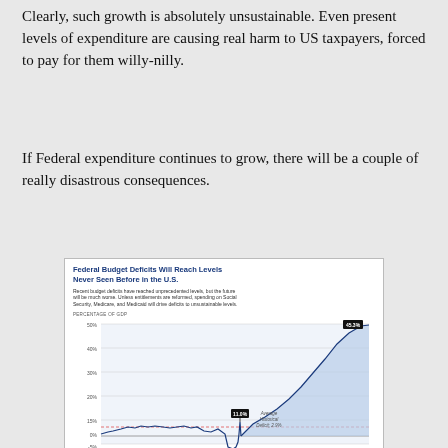Clearly, such growth is absolutely unsustainable. Even present levels of expenditure are causing real harm to US taxpayers, forced to pay for them willy-nilly.
If Federal expenditure continues to grow, there will be a couple of really disastrous consequences.
[Figure (line-chart): Line chart showing federal budget deficits as percentage of GDP from 1962 to 2080, with a dip to -2.7% around 2009, a spike to 11.0% around 2009, an average historical deficit of 2.9%, and a projected rise to 45.3% by 2080.]